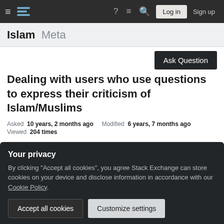Islam Meta — Stack Exchange navigation bar with Log in and Sign up buttons
Islam Meta
Ask Question
Dealing with users who use questions to express their criticism of Islam/Muslims
Asked 10 years, 2 months ago   Modified 6 years, 7 months ago
Viewed 204 times
Your privacy
By clicking "Accept all cookies", you agree Stack Exchange can store cookies on your device and disclose information in accordance with our Cookie Policy.
Accept all cookies   Customize settings
For example, several of these posts have a